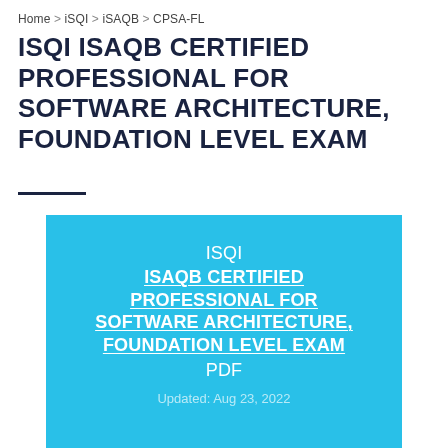Home > iSQI > iSAQB > CPSA-FL
ISQI ISAQB CERTIFIED PROFESSIONAL FOR SOFTWARE ARCHITECTURE, FOUNDATION LEVEL EXAM
[Figure (infographic): Blue box containing ISQI ISAQB CERTIFIED PROFESSIONAL FOR SOFTWARE ARCHITECTURE, FOUNDATION LEVEL EXAM PDF with updated date Aug 23, 2022]